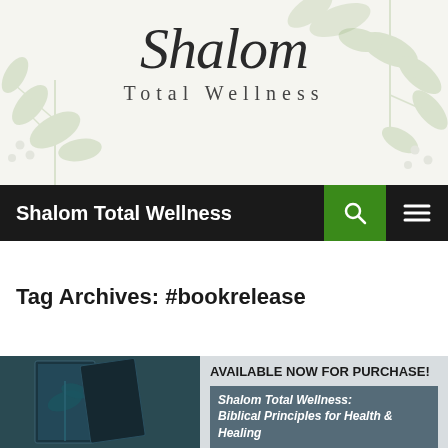[Figure (logo): Shalom Total Wellness logo with script font and botanical leaf/berry watermark background]
Shalom Total Wellness
Tag Archives: #bookrelease
[Figure (photo): Book cover photo showing botanical/plant imagery with dark teal tones]
AVAILABLE NOW FOR PURCHASE!
Shalom Total Wellness: Biblical Principles for Health & Healing